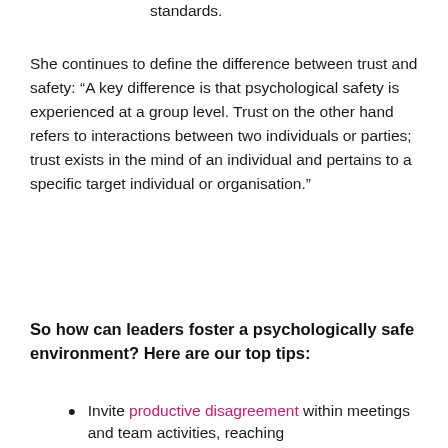standards.
She continues to define the difference between trust and safety: “A key difference is that psychological safety is experienced at a group level. Trust on the other hand refers to interactions between two individuals or parties; trust exists in the mind of an individual and pertains to a specific target individual or organisation.”
So how can leaders foster a psychologically safe environment? Here are our top tips:
Invite productive disagreement within meetings and team activities, reaching